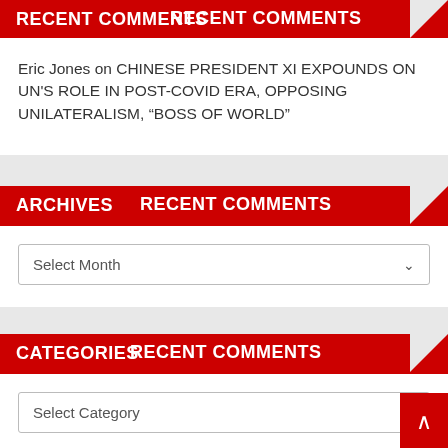RECENT COMMENTS
Eric Jones on CHINESE PRESIDENT XI EXPOUNDS ON UN’S ROLE IN POST-COVID ERA, OPPOSING UNILATERALISM, “BOSS OF WORLD”
ARCHIVES
Select Month
CATEGORIES
Select Category